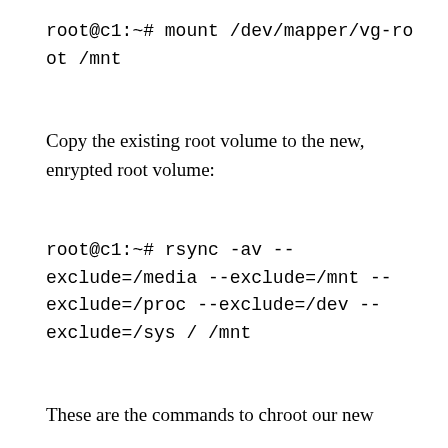root@c1:~# mount /dev/mapper/vg-root /mnt
Copy the existing root volume to the new, enrypted root volume:
root@c1:~# rsync -av --exclude=/media --exclude=/mnt --exclude=/proc --exclude=/dev --exclude=/sys / /mnt
These are the commands to chroot our new